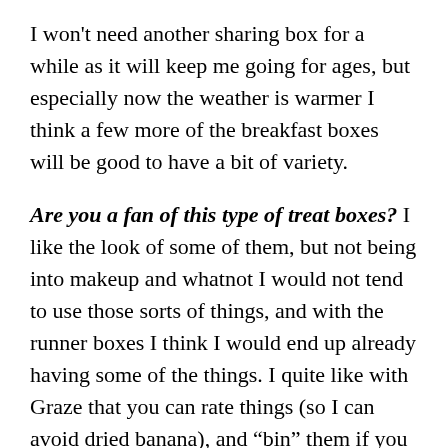I won't need another sharing box for a while as it will keep me going for ages, but especially now the weather is warmer I think a few more of the breakfast boxes will be good to have a bit of variety.
Are you a fan of this type of treat boxes? I like the look of some of them, but not being into makeup and whatnot I would not tend to use those sorts of things, and with the runner boxes I think I would end up already having some of the things. I quite like with Graze that you can rate things (so I can avoid dried banana), and “bin” them if you don’t ever want to get them, but I also like that opening the box is a surprise.